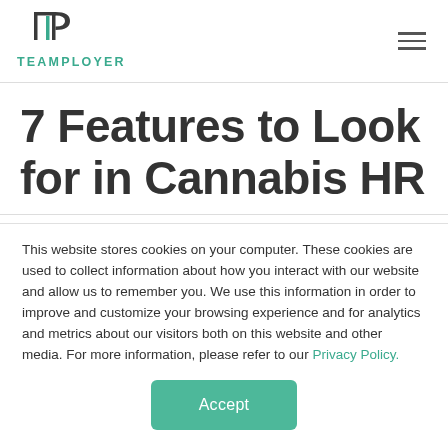TEAMPLOYER
7 Features to Look for in Cannabis HR
This website stores cookies on your computer. These cookies are used to collect information about how you interact with our website and allow us to remember you. We use this information in order to improve and customize your browsing experience and for analytics and metrics about our visitors both on this website and other media. For more information, please refer to our Privacy Policy.
Accept